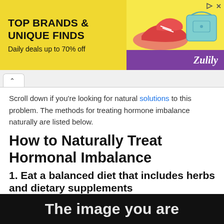[Figure (screenshot): Advertisement banner with yellow background showing 'TOP BRANDS & UNIQUE FINDS / Daily deals up to 70% off' with shoe and bag images and Zulily branding in purple]
Scroll down if you're looking for natural solutions to this problem. The methods for treating hormone imbalance naturally are listed below.
How to Naturally Treat Hormonal Imbalance
1. Eat a balanced diet that includes herbs and dietary supplements
To treat hormonal imbalance, use the following foods, herbs, and supplements in your daily diet example are Coconut Oil.
[Figure (screenshot): Bottom portion of a dark image with white text starting with 'The image you are']